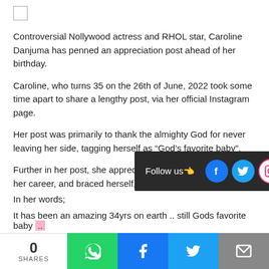[Figure (other): Small empty checkbox square]
Controversial Nollywood actress and RHOL star, Caroline Danjuma has penned an appreciation post ahead of her birthday.
Caroline, who turns 35 on the 26th of June, 2022 took some time apart to share a lengthy post, via her official Instagram page.
Her post was primarily to thank the almighty God for never leaving her side, tagging herself as “God’s favorite baby”.
Further in her post, she appreciated her fans for supporting her career, and braced herself, as she be
In her words;
It has been an amazing 34yrs on earth .. still Gods favorite baby ..
[Figure (infographic): Follow us bar with Facebook, Twitter, Instagram icons on dark background]
[Figure (infographic): Bottom share bar with share count 0 SHARES and WhatsApp, Facebook, Twitter, Email buttons]